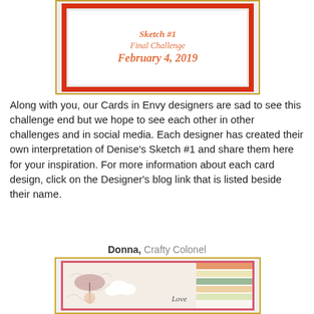[Figure (illustration): A card with a red border on a white scalloped background inside a gold-bordered frame. Text reads 'Sketch #1 Final Challenge February 4, 2019' in orange italic font.]
Along with you, our Cards in Envy designers are sad to see this challenge end but we hope to see each other in other challenges and in social media.  Each designer has created their own interpretation of Denise's Sketch #1 and share them here for your inspiration.  For more information about each card design, click on the Designer's blog link that is listed beside their name.
Donna, Crafty Colonel
[Figure (photo): A handmade card featuring an umbrella stamp image in pinkish-brown on a white and swirly embossed background with a pink border. Diagonal striped pattern in orange/green on the right side. The word 'Love' is visible at the bottom.]